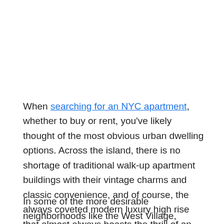When searching for an NYC apartment, whether to buy or rent, you've likely thought of the most obvious urban dwelling options. Across the island, there is no shortage of traditional walk-up apartment buildings with their vintage charms and classic convenience, and of course, the always coveted modern luxury high rise that almost always boasts the thrill of an in-unit washer and dryer.
In some of the more desirable neighborhoods like the West Village, Upper East Side, Upper West Side, and